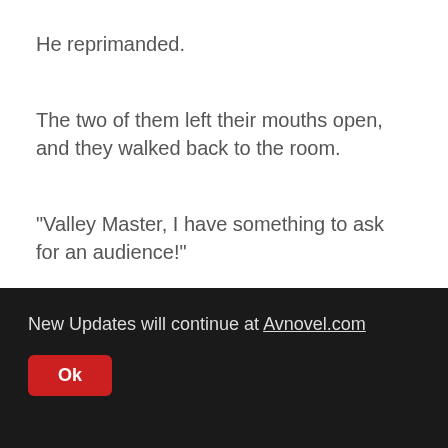He reprimanded.
The two of them left their mouths open, and they walked back to the room.
"Valley Master, I have something to ask for an audience!"
New Updates will continue at Avnovel.com
Ok